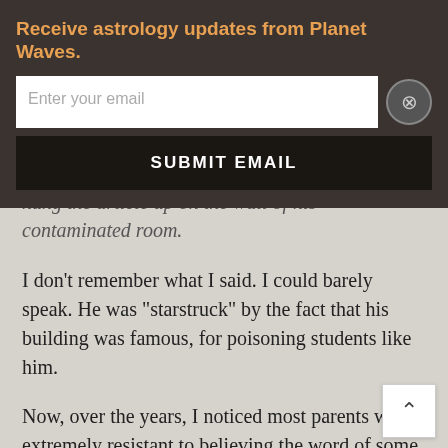Receive astrology updates from Planet Waves.
Enter your email
SUBMIT EMAIL
noticed his dorm was covered. He told me he hung the article up on the wall of his contaminated room.
I don’t remember what I said. I could barely speak. He was “starstruck” by the fact that his building was famous, for poisoning students like him.
Now, over the years, I noticed most parents were extremely resistant to believing the word of some journalist that there was an issue (no matter who had published me, and no matter what documents